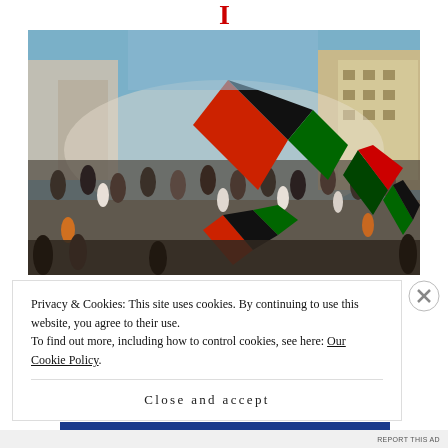I
[Figure (photo): Large crowd of protesters in an outdoor urban setting, many carrying red, black, and green flags (Biafra/IPOB flags), buildings visible in background, dusty atmosphere, sunny day.]
Privacy & Cookies: This site uses cookies. By continuing to use this website, you agree to their use.
To find out more, including how to control cookies, see here: Our Cookie Policy.
Close and accept